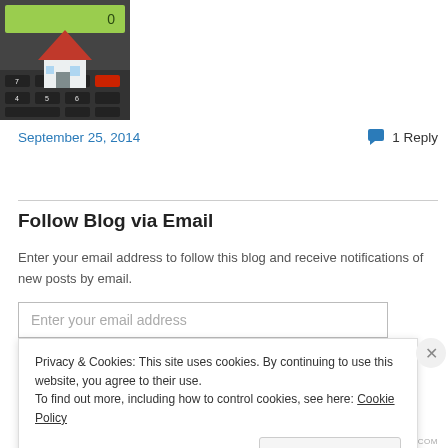[Figure (photo): Photo of a miniature house model placed on a calculator keyboard]
September 25, 2014
1 Reply
Follow Blog via Email
Enter your email address to follow this blog and receive notifications of new posts by email.
Enter your email address
Privacy & Cookies: This site uses cookies. By continuing to use this website, you agree to their use.
To find out more, including how to control cookies, see here: Cookie Policy
Close and accept